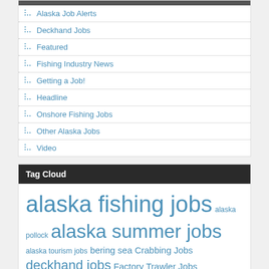Alaska Job Alerts
Deckhand Jobs
Featured
Fishing Industry News
Getting a Job!
Headline
Onshore Fishing Jobs
Other Alaska Jobs
Video
Tag Cloud
alaska fishing jobs alaska pollock alaska summer jobs alaska tourism jobs bering sea Crabbing Jobs deckhand jobs Factory Trawler Jobs Getting a Job! job strategy Offshore Fishing Jobs onshore jobs